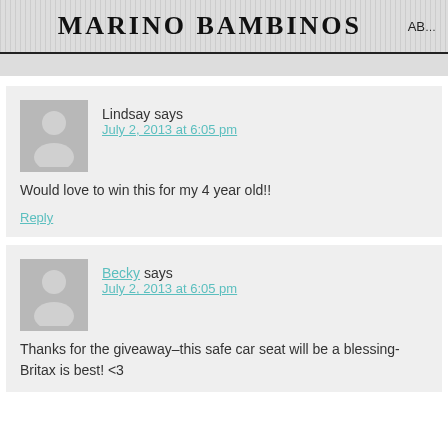MARINO BAMBINOS | AB…
Lindsay says
July 2, 2013 at 6:05 pm

Would love to win this for my 4 year old!!

Reply
Becky says
July 2, 2013 at 6:05 pm

Thanks for the giveaway–this safe car seat will be a blessing-Britax is best! <3